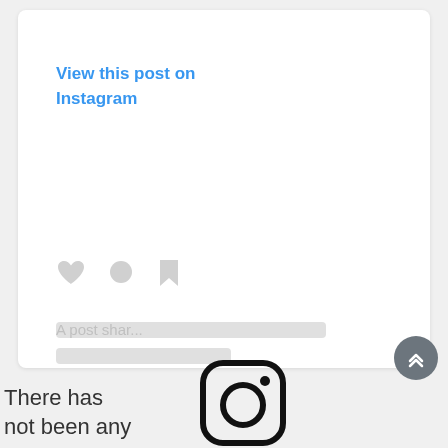[Figure (screenshot): Instagram embedded post placeholder card with 'View this post on Instagram' link text in blue, social action icons (heart, comment, bookmark), skeleton loading bars, and 'A post shar...' placeholder text at the bottom]
A post shar...
There has not been any
[Figure (logo): Instagram camera logo icon in black outline style]